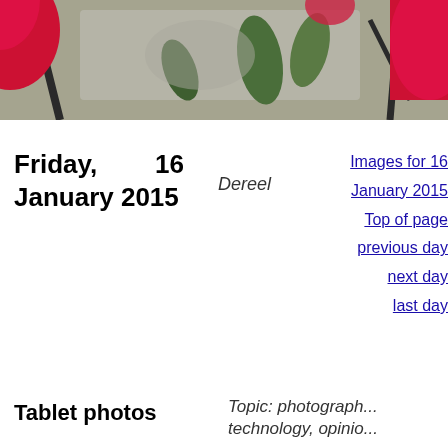[Figure (photo): Close-up photo of red flowers with green leaves and dark branches against a rocky background]
Friday, 16 January 2015
Dereel
Images for 16 January 2015
Top of page
previous day
next day
last day
Tablet photos
Topic: photography, technology, opinion